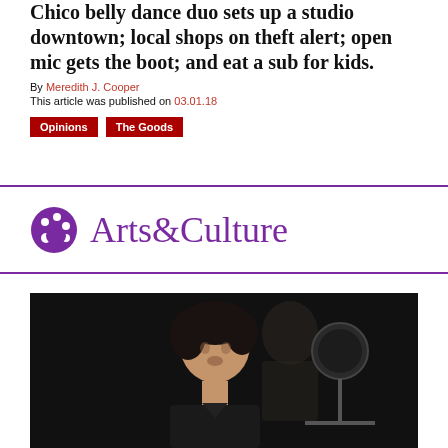Chico belly dance duo sets up a studio downtown; local shops on theft alert; open mic gets the boot; and eat a sub for kids.
By Meredith J. Cooper
This article was published on 03.01.18
Opinions | The Goods
Arts&Culture
[Figure (photo): A man with dark curly hair in low lighting, with a microphone visible to the right, against a dark background.]